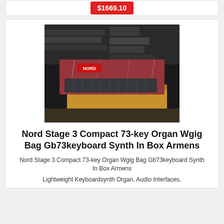$1669.10
[Figure (photo): Photo of a Nord Stage 3 Compact 73-key keyboard wrapped in plastic, sitting on a cardboard box, surrounded by stacks of electronic music equipment in a dark room.]
Nord Stage 3 Compact 73-key Organ Wgig Bag Gb73keyboard Synth In Box Armens
Nord Stage 3 Compact 73-key Organ Wgig Bag Gb73keyboard Synth In Box Armens
Lightweight Keyboardsynth Organ. Audio Interfaces.